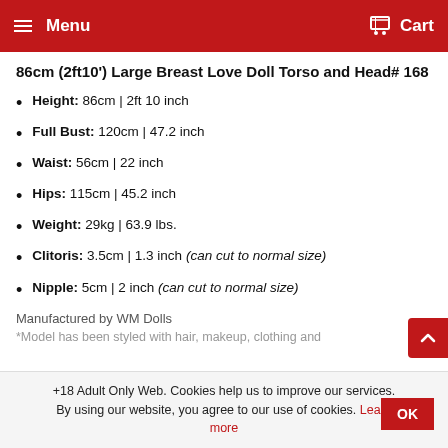Menu  Cart
86cm (2ft10') Large Breast Love Doll Torso and Head# 168
Height: 86cm | 2ft 10 inch
Full Bust: 120cm | 47.2 inch
Waist: 56cm | 22 inch
Hips: 115cm | 45.2 inch
Weight: 29kg | 63.9 lbs.
Clitoris: 3.5cm | 1.3 inch (can cut to normal size)
Nipple: 5cm | 2 inch (can cut to normal size)
Manufactured by WM Dolls
*Model has been styled with hair, makeup, clothing and
+18 Adult Only Web. Cookies help us to improve our services. By using our website, you agree to our use of cookies. Learn more